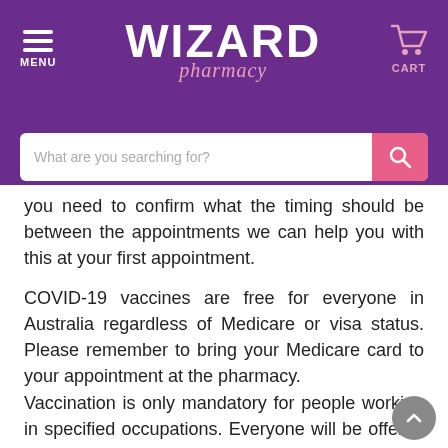[Figure (logo): Wizard Pharmacy logo with menu icon, pharmacy name, and cart icon on purple background with search bar]
you need to confirm what the timing should be between the appointments we can help you with this at your first appointment.
COVID-19 vaccines are free for everyone in Australia regardless of Medicare or visa status. Please remember to bring your Medicare card to your appointment at the pharmacy.
Vaccination is only mandatory for people working in specified occupations. Everyone will be offered a vaccine and they are free. The Australian Government and WA Government strongly encourage people to get vaccinated. Doing so will help protect you, your family and